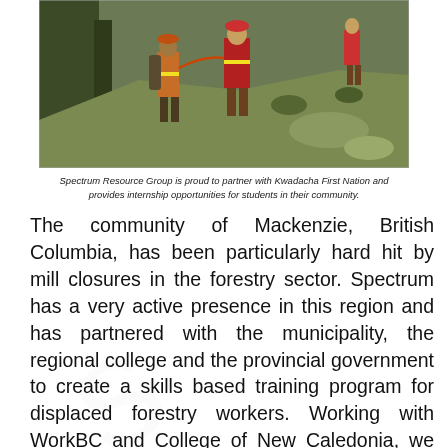[Figure (photo): Forestry workers wearing orange hi-vis vests and hard hats walking on a steep forested hillside.]
Spectrum Resource Group is proud to partner with Kwadacha First Nation and provides internship opportunities for students in their community.
The community of Mackenzie, British Columbia, has been particularly hard hit by mill closures in the forestry sector. Spectrum has a very active presence in this region and has partnered with the municipality, the regional college and the provincial government to create a skills based training program for displaced forestry workers. Working with WorkBC and College of New Caledonia, we successfully built a curriculum to help local workers develop the certifications and training required to work in fuel reduction, invasive plant and forest development roles. Training courses offered include chainsaw certification,